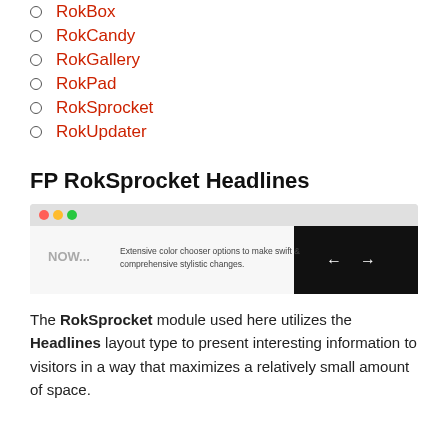RokBox
RokCandy
RokGallery
RokPad
RokSprocket
RokUpdater
FP RokSprocket Headlines
[Figure (screenshot): Screenshot of a browser window showing the RokSprocket Headlines module with 'NOW...' text on the left and navigation arrows on the right.]
The RokSprocket module used here utilizes the Headlines layout type to present interesting information to visitors in a way that maximizes a relatively small amount of space.